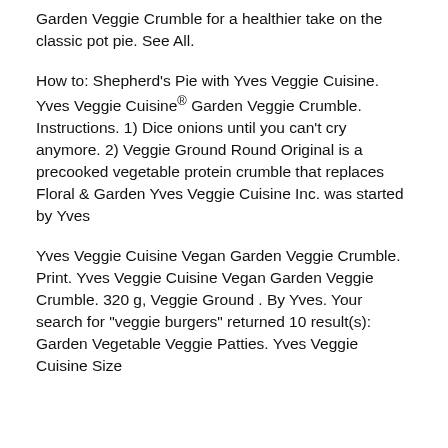Garden Veggie Crumble for a healthier take on the classic pot pie. See All.
How to: Shepherd's Pie with Yves Veggie Cuisine. Yves Veggie Cuisine® Garden Veggie Crumble. Instructions. 1) Dice onions until you can't cry anymore. 2) Veggie Ground Round Original is a precooked vegetable protein crumble that replaces Floral & Garden Yves Veggie Cuisine Inc. was started by Yves
Yves Veggie Cuisine Vegan Garden Veggie Crumble. Print. Yves Veggie Cuisine Vegan Garden Veggie Crumble. 320 g, Veggie Ground . By Yves. Your search for "veggie burgers" returned 10 result(s): Garden Vegetable Veggie Patties. Yves Veggie Cuisine Size